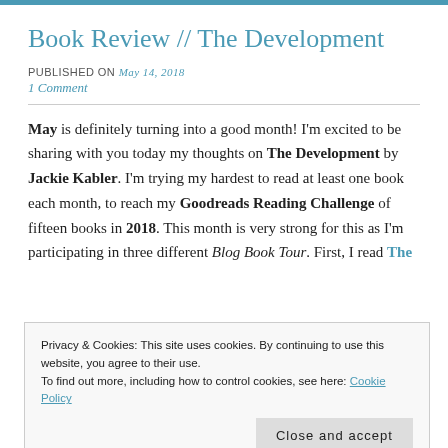Book Review // The Development
PUBLISHED ON May 14, 2018
1 Comment
May is definitely turning into a good month! I'm excited to be sharing with you today my thoughts on The Development by Jackie Kabler. I'm trying my hardest to read at least one book each month, to reach my Goodreads Reading Challenge of fifteen books in 2018. This month is very strong for this as I'm participating in three different Blog Book Tour. First, I read The
Privacy & Cookies: This site uses cookies. By continuing to use this website, you agree to their use. To find out more, including how to control cookies, see here: Cookie Policy
Close and accept
at Neverland Blog Tours. I have found some new loves since